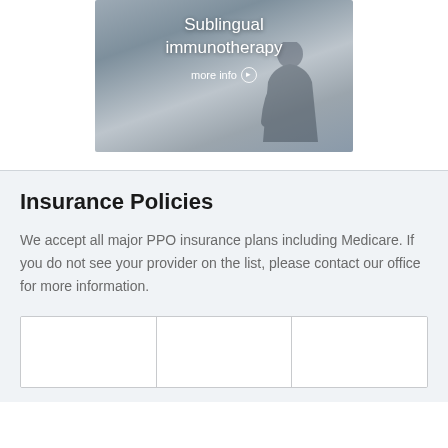[Figure (photo): Photo banner of a person tilting head back, with overlay text 'Sublingual immunotherapy' and 'more info' link with arrow icon]
Insurance Policies
We accept all major PPO insurance plans including Medicare. If you do not see your provider on the list, please contact our office for more information.
[Figure (other): Three empty card/logo cells in a row with borders, representing insurance provider logos]